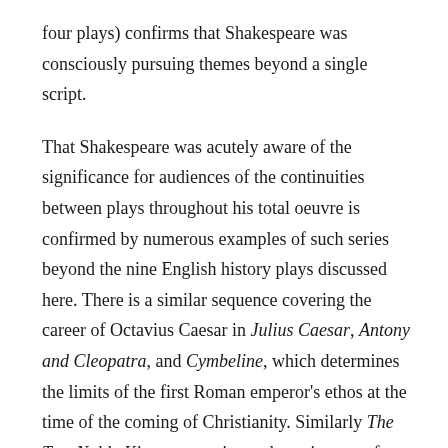four plays) confirms that Shakespeare was consciously pursuing themes beyond a single script.

That Shakespeare was acutely aware of the significance for audiences of the continuities between plays throughout his total oeuvre is confirmed by numerous examples of such series beyond the nine English history plays discussed here. There is a similar sequence covering the career of Octavius Caesar in Julius Caesar, Antony and Cleopatra, and Cymbeline, which determines the limits of the first Roman emperor's ethos at the time of the coming of Christianity. Similarly The Two Noble Kinsmen continues the trajectory of amatory tragicomedy concerning Theseus begun in A Midsummer Night's Dream. The last plays of each sequence match the definitive perspective over the contents of their predecessors which I